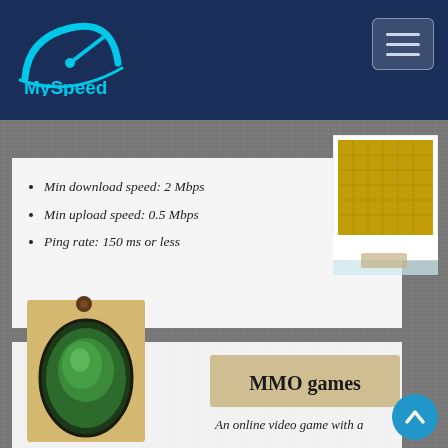MySpeed
[Figure (logo): MySpeed logo - cyan speedometer graphic with 'MySpeed' text below in cyan on navy background]
Min download speed: 2 Mbps
Min upload speed: 0.5 Mbps
Ping rate: 150 ms or less
[Figure (photo): Polaroid-style photo showing gold mosaic texture, pinned with tape at bottom]
[Figure (photo): Pinned card with oval-framed photo of a green iridescent bird/fish, set on tan cardboard with a brown pin at top]
MMO games
An online video game with a